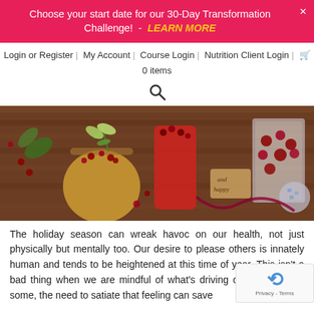Choose your start date for our 30-Day Transformation Challenge! - LEARN MORE
Login or Register | My Account | Course Login | Nutrition Client Login | 🛒 0 items
[Figure (other): Search icon]
[Figure (photo): Holiday drinks with cranberries and garnish on a wooden table]
The holiday season can wreak havoc on our health, not just physically but mentally too. Our desire to please others is innately human and tends to be heightened at this time of year. This isn't a bad thing when we are mindful of what's driving our actions. For some, the need to satiate that feeling can save